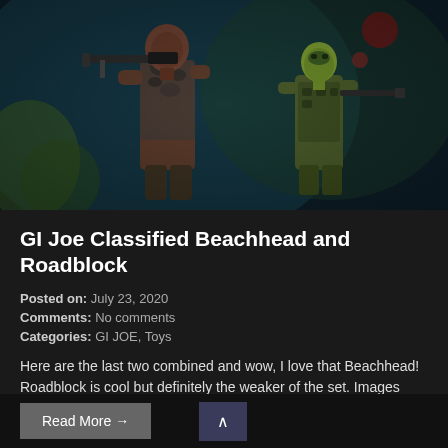[Figure (photo): Two GI Joe Classified action figures against a dark teal/military background. Left figure is a muscular dark-skinned character with camo vest and large machine gun. Right figure is a figure in green military uniform and green balaclava with rifle.]
GI Joe Classified Beachhead and Roadblock
Posted on: July 23, 2020
Comments: No comments
Categories: GI JOE, Toys
Here are the last two combined and wow, I love that Beachhead! Roadblock is cool but definitely the weaker of the set. Images come from The fULL FORCE PODCAST. I dont know about you guys, but I want all of these in a bad way. So much good stuff coming for this infant line but
Read More →